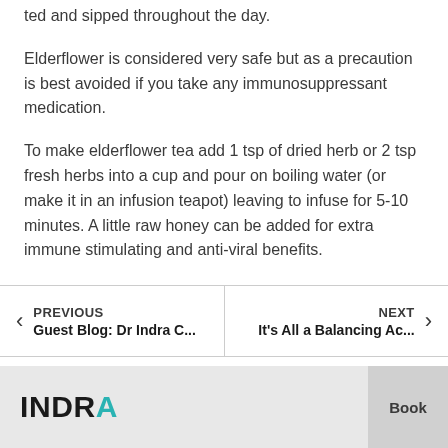ted and sipped throughout the day.
Elderflower is considered very safe but as a precaution is best avoided if you take any immunosuppressant medication.
To make elderflower tea add 1 tsp of dried herb or 2 tsp fresh herbs into a cup and pour on boiling water (or make it in an infusion teapot) leaving to infuse for 5-10 minutes. A little raw honey can be added for extra immune stimulating and anti-viral benefits.
PREVIOUS Guest Blog: Dr Indra C... | NEXT It's All a Balancing Ac...
INDRA Book